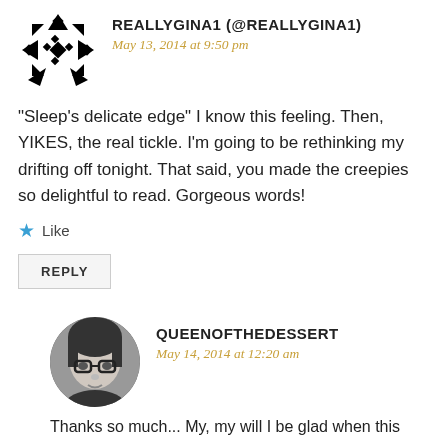[Figure (illustration): Avatar icon for user REALLYGINA1 — geometric/tribal pattern in black and white]
REALLYGINA1 (@REALLYGINA1)
May 13, 2014 at 9:50 pm
“Sleep’s delicate edge” I know this feeling. Then, YIKES, the real tickle. I’m going to be rethinking my drifting off tonight. That said, you made the creepies so delightful to read. Gorgeous words!
Like
REPLY
[Figure (photo): Circular avatar photo of QUEENOFTHEDESSERT — black and white photo of a person with glasses]
QUEENOFTHEDESSERT
May 14, 2014 at 12:20 am
Thanks so much... My, my will I be glad when this